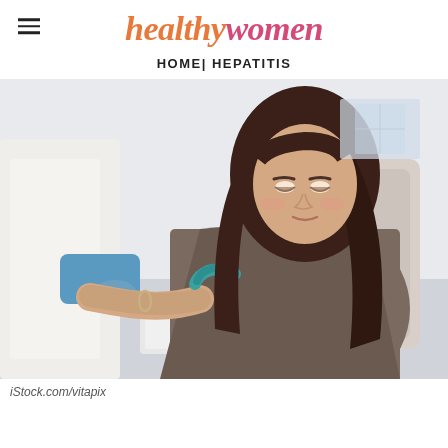healthywomen
HOME| HEPATITIS
[Figure (photo): A young woman with long dark hair sits in a medical chair wearing a gray long-sleeve top, looking down at her arm. A medical professional in a white coat and blue gloves is drawing blood from her arm. A teal tourniquet is wrapped around her upper arm. Medical supplies are visible on a tray nearby.]
iStock.com/vitapix